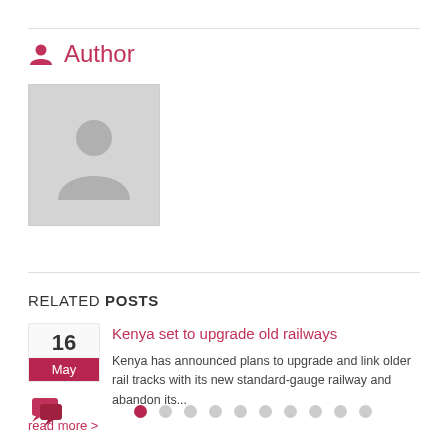Author
[Figure (photo): Default avatar placeholder image — grey box with silhouette person icon]
RELATED POSTS
Kenya set to upgrade old railways
Kenya has announced plans to upgrade and link older rail tracks with its new standard-gauge railway and abandon its...
read more >